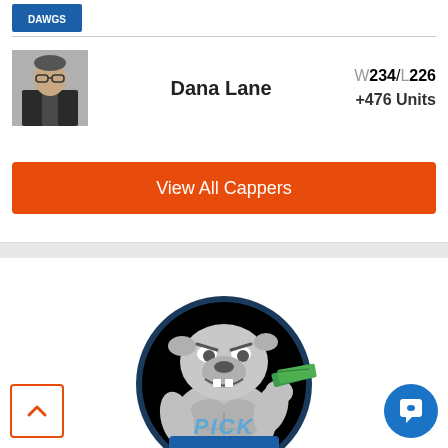[Figure (photo): Small logo image at top of card]
Dana Lane  W234/L226  +476 Units
[Figure (photo): Headshot photo of Dana Lane, a man in a dark suit]
View All Cappers
[Figure (illustration): Cartoon muscular bulldog holding cash money, with PICK text label, set in a circular black background with blue border]
PICK